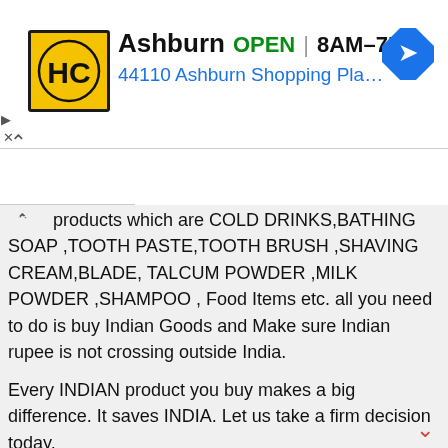[Figure (screenshot): Ad banner for HC store in Ashburn showing logo, OPEN status, hours 8AM-7PM, address 44110 Ashburn Shopping Plaza 190, A..., and a navigation arrow icon]
Daily products which are COLD DRINKS,BATHING SOAP ,TOOTH PASTE,TOOTH BRUSH ,SHAVING CREAM,BLADE, TALCUM POWDER ,MILK POWDER ,SHAMPOO , Food Items etc. all you need to do is buy Indian Goods and Make sure Indian rupee is not crossing outside India.
Every INDIAN product you buy makes a big difference. It saves INDIA. Let us take a firm decision today.
we are not anti-multinational. we are trying to save our nation. every day is a struggle for a real freedom. we achieved our independence after losing many lives. they died painfully to ensure that we live peacefully. the current